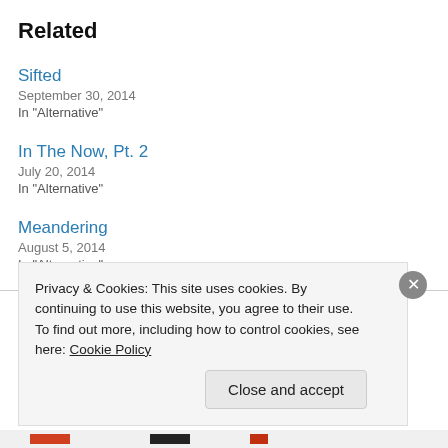Related
Sifted
September 30, 2014
In "Alternative"
In The Now, Pt. 2
July 20, 2014
In "Alternative"
Meandering
August 5, 2014
In "Alternative"
Privacy & Cookies: This site uses cookies. By continuing to use this website, you agree to their use.
To find out more, including how to control cookies, see here: Cookie Policy
Close and accept